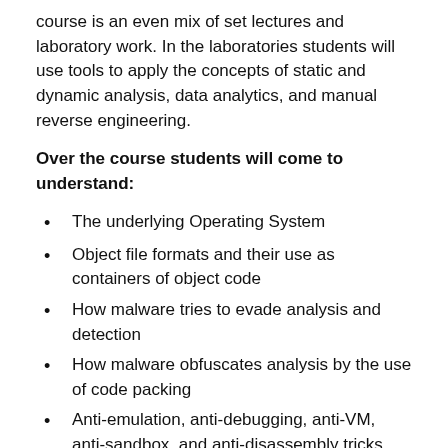course is an even mix of set lectures and laboratory work. In the laboratories students will use tools to apply the concepts of static and dynamic analysis, data analytics, and manual reverse engineering.
Over the course students will come to understand:
The underlying Operating System
Object file formats and their use as containers of object code
How malware tries to evade analysis and detection
How malware obfuscates analysis by the use of code packing
Anti-emulation, anti-debugging, anti-VM, anti-sandbox, and anti-disassembly tricks that malware uses
How dynamic analysis can analyse malware